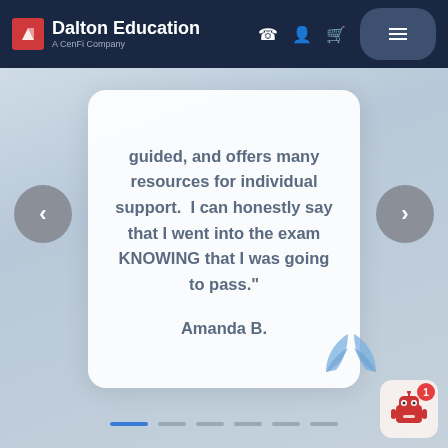Dalton Education – A CenFi Company
guided, and offers many resources for individual support.  I can honestly say that I went into the exam KNOWING that I was going to pass."
Amanda B.
[Figure (screenshot): Two decorative blue quotation leaf shapes at bottom right of testimonial card]
[Figure (illustration): Red robot chatbot icon with badge showing count 1, bottom right corner]